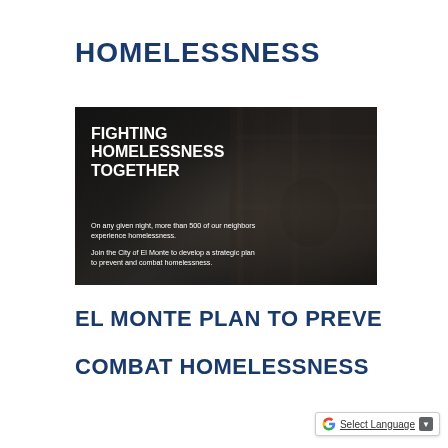HOMELESSNESS
[Figure (photo): Dark/black-and-white photograph of a homeless person with a backpack and plaid clothing, overlaid with white text reading 'FIGHTING HOMELESSNESS TOGETHER' and body text: 'On any given night, more than 500 of our neighbors experience homelessness. Join the City of El Monte to develop a strategic plan to prevent and combat homelessness.']
EL MONTE PLAN TO PREVENT AND COMBAT HOMELESSNESS